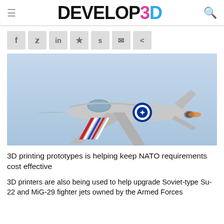DEVELOP3D
[Figure (other): Social media sharing buttons: Facebook, Twitter, LinkedIn, Pinterest, Reddit, Email, Share]
[Figure (photo): Fighter jet (MiG-29 style) with NATO roundel and red/white/blue stripe livery, flying against a blue-grey sky background]
3D printing prototypes is helping keep NATO requirements cost effective
3D printers are also being used to help upgrade Soviet-type Su-22 and MiG-29 fighter jets owned by the Armed Forces